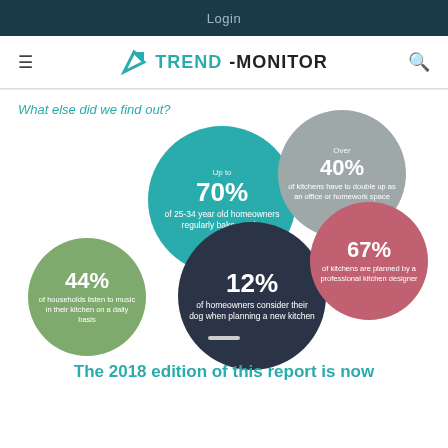Login
[Figure (logo): Trend-Monitor logo with teal arrow icon and bold text]
What else did we find out?
[Figure (infographic): Five overlapping circles with statistics: Up to 70% of 25-34 year old homeowners regularly bake a cake (teal); Over 40% of kitchens have to double up as an office or homework space (gray); 44% of households listen to music in their kitchen on a daily basis (green); 12% of homeowners consider their dog when planning a new kitchen (dark navy); 67% of kitchens are planned by a professional kitchen designer (rose/pink)]
The 2018 edition of this report is now